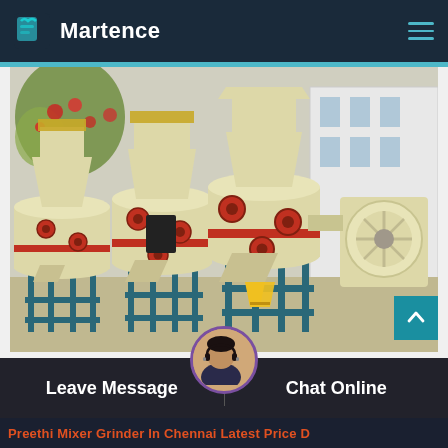Martence
[Figure (photo): Multiple cream/beige colored industrial grinding mills (Raymond mills) lined up in a factory yard. The machines have red valve handles, teal/blue metal support frames, and funnel-shaped top hoppers. A blower unit is visible on the right side. Background shows a white building and trees.]
Leave Message
Chat Online
Preethi Mixer Grinder In Chennai Latest Price D